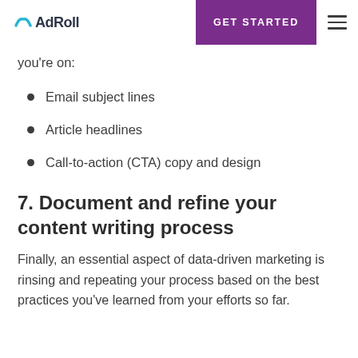AdRoll | GET STARTED
you're on:
Email subject lines
Article headlines
Call-to-action (CTA) copy and design
7. Document and refine your content writing process
Finally, an essential aspect of data-driven marketing is rinsing and repeating your process based on the best practices you've learned from your efforts so far.